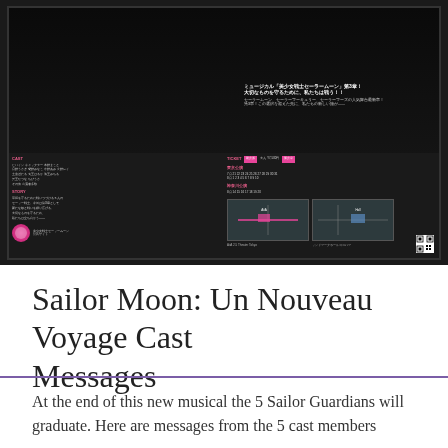[Figure (photo): Promotional flyer for the Sailor Moon musical 'Un Nouveau Voyage' (美少女戦士セーラームーン 第3章). Shows the full cast in Sailor Guardian costumes on a dark stage, with performance schedule, venue maps, and ticket information in Japanese text below.]
Sailor Moon: Un Nouveau Voyage Cast Messages
At the end of this new musical the 5 Sailor Guardians will graduate. Here are messages from the 5 cast members